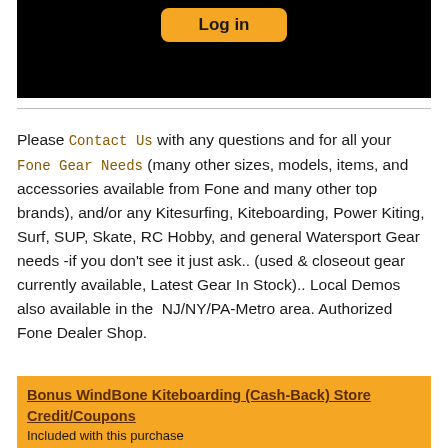[Figure (screenshot): Black background area with an orange 'Log in' button at the top]
Please Contact Us with any questions and for all your Fone Gear Needs (many other sizes, models, items, and accessories available from Fone and many other top brands), and/or any Kitesurfing, Kiteboarding, Power Kiting, Surf, SUP, Skate, RC Hobby, and general Watersport Gear needs -if you don't see it just ask.. (used & closeout gear currently available, Latest Gear In Stock).. Local Demos also available in the NJ/NY/PA-Metro area. Authorized Fone Dealer Shop.
Bonus WindBone Kiteboarding (Cash-Back) Store Credit/Coupons
Included with this purchase